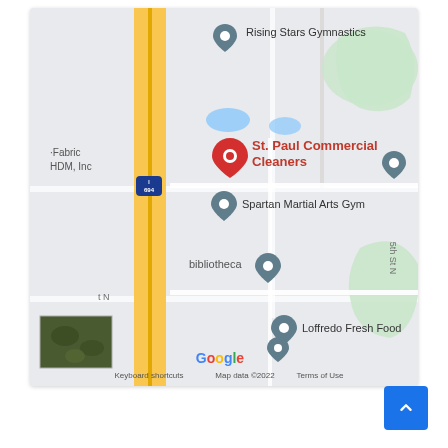[Figure (map): Google Maps screenshot showing area around St. Paul Commercial Cleaners. Visible landmarks include Rising Stars Gymnastics, Spartan Martial Arts Gym, bibliotheca, Fabric HDM Inc, Loffredo Fresh Food, and Interstate 694. Map includes Google branding, keyboard shortcuts, map data ©2022, and Terms of Use. A satellite view thumbnail is visible in the lower left corner.]